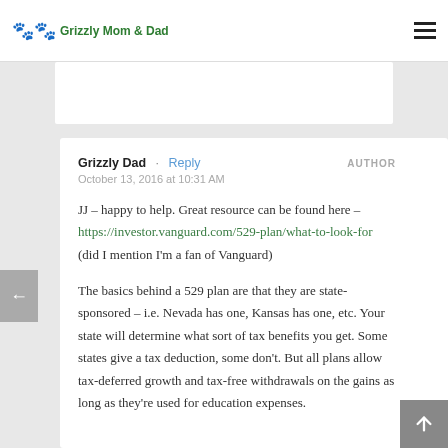Grizzly Mom & Dad
Grizzly Dad · Reply   AUTHOR
October 13, 2016 at 10:31 AM
JJ – happy to help. Great resource can be found here – https://investor.vanguard.com/529-plan/what-to-look-for (did I mention I'm a fan of Vanguard)
The basics behind a 529 plan are that they are state-sponsored – i.e. Nevada has one, Kansas has one, etc. Your state will determine what sort of tax benefits you get. Some states give a tax deduction, some don't. But all plans allow tax-deferred growth and tax-free withdrawals on the gains as long as they're used for education expenses.